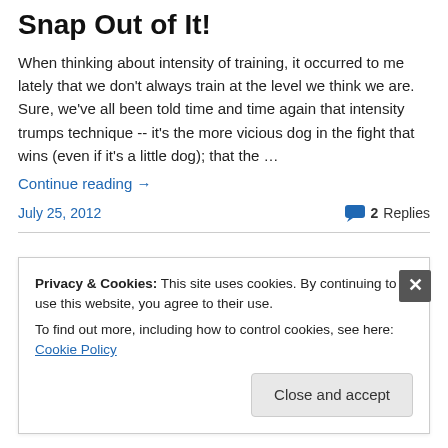Snap Out of It!
When thinking about intensity of training, it occurred to me lately that we don't always train at the level we think we are. Sure, we've all been told time and time again that intensity trumps technique -- it's the more vicious dog in the fight that wins (even if it's a little dog); that the …
Continue reading →
July 25, 2012    2 Replies
Privacy & Cookies: This site uses cookies. By continuing to use this website, you agree to their use.
To find out more, including how to control cookies, see here: Cookie Policy
Close and accept